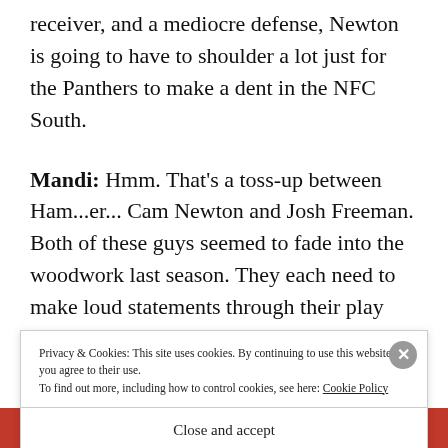receiver, and a mediocre defense, Newton is going to have to shoulder a lot just for the Panthers to make a dent in the NFC South.
Mandi: Hmm. That's a toss-up between Ham...er... Cam Newton and Josh Freeman. Both of these guys seemed to fade into the woodwork last season. They each need to make loud statements through their play this season.
5
Privacy & Cookies: This site uses cookies. By continuing to use this website, you agree to their use. To find out more, including how to control cookies, see here: Cookie Policy
Close and accept